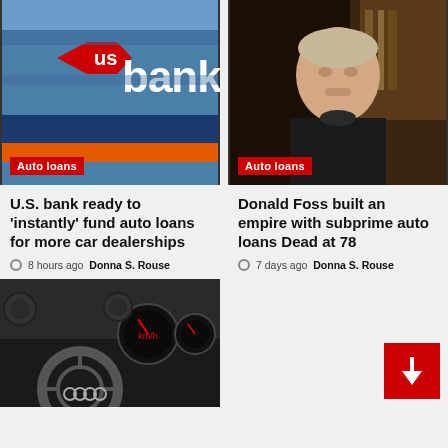[Figure (photo): US Bank building exterior sign with red and blue branding]
Auto loans
[Figure (photo): Portrait of an older bald man, Donald Foss, in a dark shirt]
Auto loans
U.S. bank ready to 'instantly' fund auto loans for more car dealerships
8 hours ago  Donna S. Rouse
Donald Foss built an empire with subprime auto loans Dead at 78
7 days ago  Donna S. Rouse
[Figure (photo): Car interior dashboard with steering wheel and Audi instrument cluster]
[Figure (other): Red square button with white arrow icon]